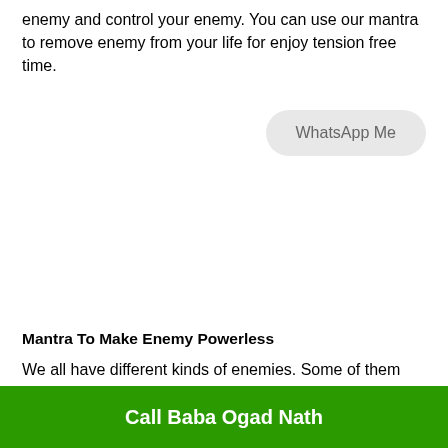enemy and control your enemy. You can use our mantra to remove enemy from your life for enjoy tension free time.
WhatsApp Me
Mantra To Make Enemy Powerless
We all have different kinds of enemies. Some of them have
Call Baba Ogad Nath